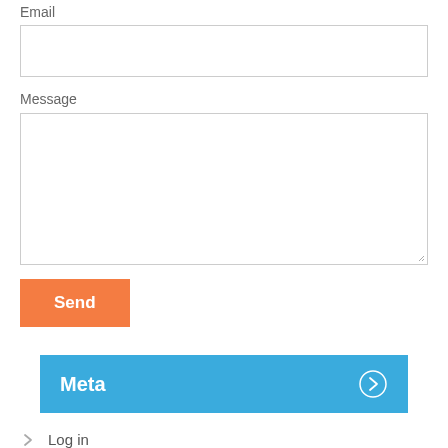Email
[Figure (screenshot): Email input field (text box)]
Message
[Figure (screenshot): Message textarea input field]
[Figure (screenshot): Send button (orange)]
Meta
Log in
Entries feed